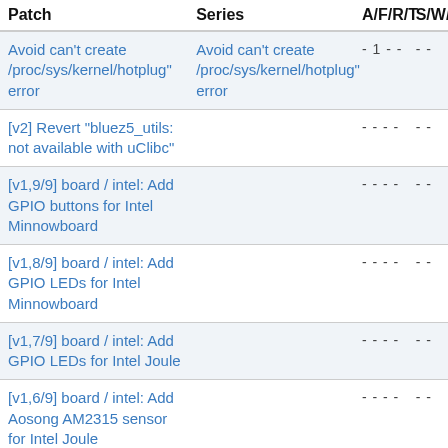| Patch | Series | A/F/R/T | S/W/A |
| --- | --- | --- | --- |
| Avoid  can't create /proc/sys/kernel/hotplug" error | Avoid  can't create /proc/sys/kernel/hotplug" error | - 1 - - | - - |
| [v2] Revert "bluez5_utils: not available with uClibc" |  | - - - - | - - |
| [v1,9/9] board / intel: Add GPIO buttons for Intel Minnowboard |  | - - - - | - - |
| [v1,8/9] board / intel: Add GPIO LEDs for Intel Minnowboard |  | - - - - | - - |
| [v1,7/9] board / intel: Add GPIO LEDs for Intel Joule |  | - - - - | - - |
| [v1,6/9] board / intel: Add Aosong AM2315 sensor for Intel Joule |  | - - - - | - - |
| [v1,5/9] board / intel: Add SPI peripherals for Joule |  | - - - - | - - |